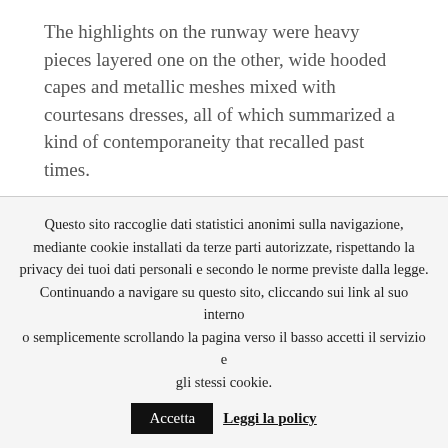The highlights on the runway were heavy pieces layered one on the other, wide hooded capes and metallic meshes mixed with courtesans dresses, all of which summarized a kind of contemporaneity that recalled past times.
SUSTAINABILITY
Questo sito raccoglie dati statistici anonimi sulla navigazione, mediante cookie installati da terze parti autorizzate, rispettando la privacy dei tuoi dati personali e secondo le norme previste dalla legge. Continuando a navigare su questo sito, cliccando sui link al suo interno o semplicemente scrollando la pagina verso il basso accetti il servizio e gli stessi cookie. Accetta  Leggi la policy